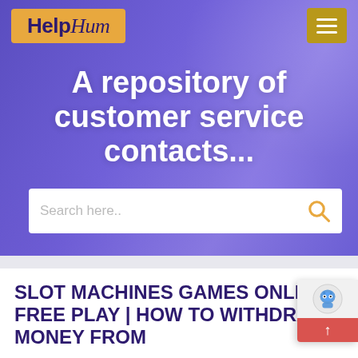[Figure (screenshot): HelpHum website hero section with purple overlay background showing hands using a phone/tablet. Contains logo, hamburger menu, tagline, and search bar.]
A repository of customer service contacts...
SLOT MACHINES GAMES ONLINE FREE PLAY | HOW TO WITHDRAW MONEY FROM